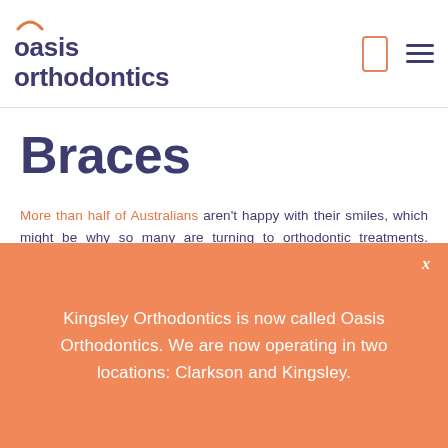oasis orthodontics
Braces
More than half of Australians aren't happy with their smiles, which might be why so many are turning to orthodontic treatments. Orthodontic treatment such as braces can fix a bad bite or crooked teeth and give you the smile you've always wanted.
Why do I need braces?
There are several reasons someone might need braces,
Kingsley Orthodontics is now called Oasis Orthodontics. We are now operating in two locations: Clarkson and Kingsley.